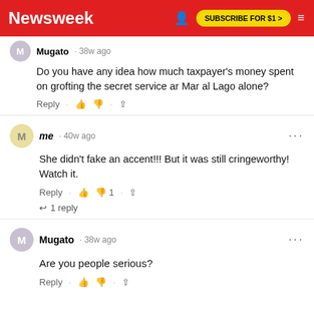Newsweek | SUBSCRIBE FOR $1 >
Mugato · 38w ago
Do you have any idea how much taxpayer's money spent on grofting the secret service ar Mar al Lago alone?
me · 40w ago
She didn't fake an accent!!! But it was still cringeworthy! Watch it.
↓ 1 reply
Mugato · 38w ago
Are you people serious?